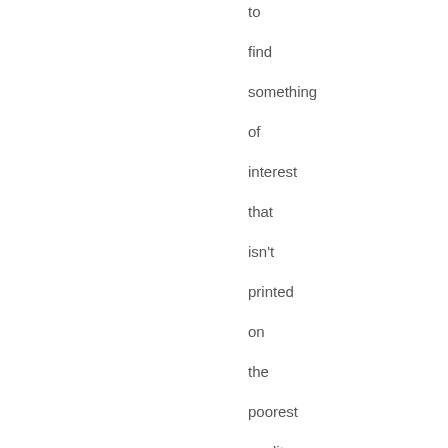to find something of interest that isn't printed on the poorest quality paper and bound in the shoddiest of paper covers. I haven't bought anything there except